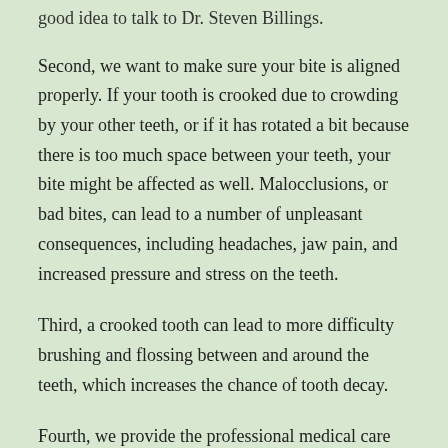good idea to talk to Dr. Steven Billings.
Second, we want to make sure your bite is aligned properly. If your tooth is crooked due to crowding by your other teeth, or if it has rotated a bit because there is too much space between your teeth, your bite might be affected as well. Malocclusions, or bad bites, can lead to a number of unpleasant consequences, including headaches, jaw pain, and increased pressure and stress on the teeth.
Third, a crooked tooth can lead to more difficulty brushing and flossing between and around the teeth, which increases the chance of tooth decay.
Fourth, we provide the professional medical care you need. Some people with a turned tooth attempt self-help with rubber bands, dental floss, or other home remedies. Not only is this unlikely to work, it can actually lead to infection, root problems, and even